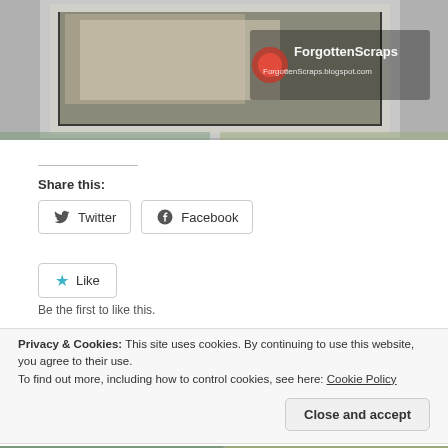[Figure (photo): Cropped photo of a decorative scrapbook item with ForgottenScraps branding overlay (ForgottenScraps.blogspot.com)]
Share this:
Twitter
Facebook
Like
Be the first to like this.
Privacy & Cookies: This site uses cookies. By continuing to use this website, you agree to their use.
To find out more, including how to control cookies, see here: Cookie Policy
Close and accept